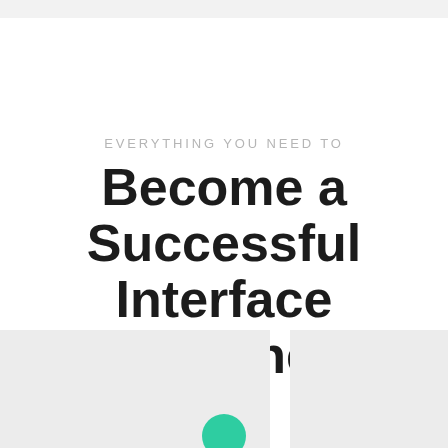EVERYTHING YOU NEED TO
Become a Successful Interface Designer
[Figure (illustration): Bottom section with two light gray rectangular boxes and a green circle element partially visible at the bottom center of the page]